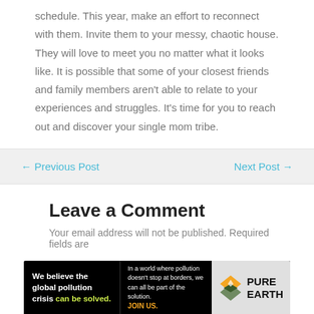schedule. This year, make an effort to reconnect with them. Invite them to your messy, chaotic house. They will love to meet you no matter what it looks like. It is possible that some of your closest friends and family members aren't able to relate to your experiences and struggles. It's time for you to reach out and discover your single mom tribe.
← Previous Post    Next Post →
Leave a Comment
Your email address will not be published. Required fields are
[Figure (other): Advertisement banner for Pure Earth: 'We believe the global pollution crisis can be solved. In a world where pollution doesn't stop at borders, we can all be part of the solution. JOIN US.' with Pure Earth logo.]